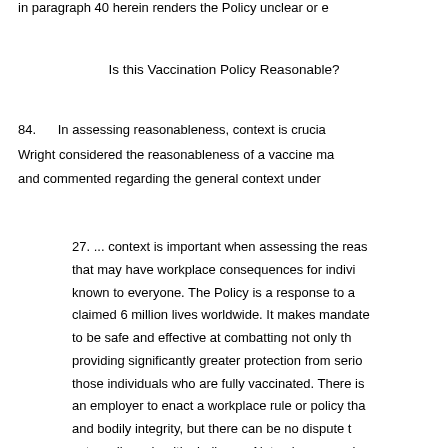in paragraph 40 herein renders the Policy unclear or e
Is this Vaccination Policy Reasonable?
84.    In assessing reasonableness, context is crucial. Wright considered the reasonableness of a vaccine mandate and commented regarding the general context under
27. ... context is important when assessing the reasonableness of a direction that may have workplace consequences for individuals. The context here is known to everyone. The Policy is a response to a pandemic that has claimed 6 million lives worldwide. It makes mandatory a vaccine assessed to be safe and effective at combatting not only the spread but also providing significantly greater protection from serious illness and death for those individuals who are fully vaccinated. There is no dispute about whether an employer to enact a workplace rule or policy that intrudes on autonomy and bodily integrity, but there can be no dispute that employers face an extraordinary health challenge. Not only are empl